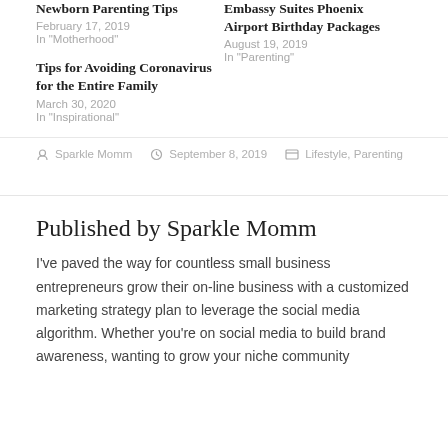Newborn Parenting Tips
February 17, 2019
In "Motherhood"
Embassy Suites Phoenix Airport Birthday Packages
August 19, 2019
In "Parenting"
Tips for Avoiding Coronavirus for the Entire Family
March 30, 2020
In "Inspirational"
By Sparkle Momm  September 8, 2019  Lifestyle, Parenting
Published by Sparkle Momm
I've paved the way for countless small business entrepreneurs grow their on-line business with a customized marketing strategy plan to leverage the social media algorithm. Whether you're on social media to build brand awareness, wanting to grow your niche community